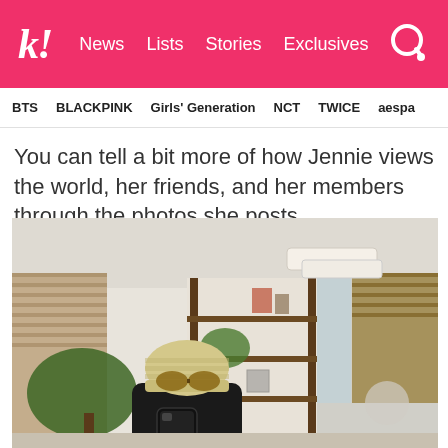k! News Lists Stories Exclusives
BTS BLACKPINK Girls' Generation NCT TWICE aespa
You can tell a bit more of how Jennie views the world, her friends, and her members through the photos she posts.
[Figure (photo): Mirror selfie of person wearing a cream knit beanie hat with oval sunglasses, holding a black iPhone, taken in a modern apartment interior with wooden shelving unit, plants, and window]